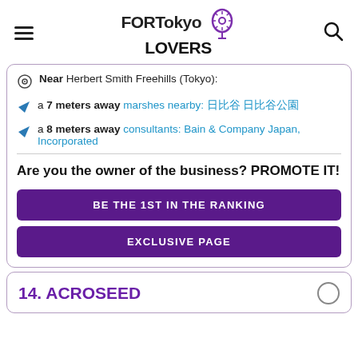FOR Tokyo LOVERS
Near Herbert Smith Freehills (Tokyo):
a 7 meters away marshes nearby: 日比谷 日比谷公園
a 8 meters away consultants: Bain & Company Japan, Incorporated
Are you the owner of the business? PROMOTE IT!
BE THE 1ST IN THE RANKING
EXCLUSIVE PAGE
14. ACROSEED